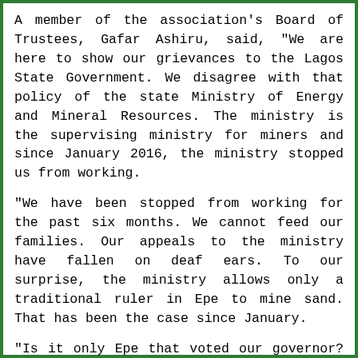A member of the association's Board of Trustees, Gafar Ashiru, said, "We are here to show our grievances to the Lagos State Government. We disagree with that policy of the state Ministry of Energy and Mineral Resources. The ministry is the supervising ministry for miners and since January 2016, the ministry stopped us from working.
"We have been stopped from working for the past six months. We cannot feed our families. Our appeals to the ministry have fallen on deaf ears. To our surprise, the ministry allows only a traditional ruler in Epe to mine sand. That has been the case since January.
"Is it only Epe that voted our governor? And we know his government is not one-sided. We are appealing to the governor to reverse this policy.
"He should also look into the ministry. A lot of activities